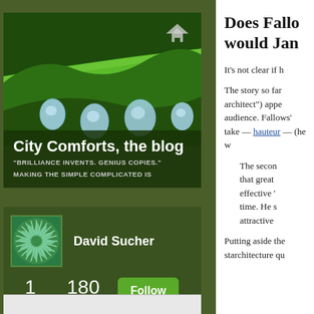[Figure (photo): Close-up photo of green plant stem with water droplets hanging from it against a dark green background]
City Comforts, the blog
"BRILLIANCE INVENTS. GENIUS COPIES."
MAKING THE SIMPLE COMPLICATED IS
[Figure (logo): Green circular logo with white spiral/starburst pattern]
David Sucher
1 FOLLOWING
180 FOLLOWERS
Follow
Does Fallo would Jan
It's not clear if h
The story so far architect") appe audience. Fallows' take — hauteur — (he w
The secon that great effective ' time. He s attractive
Putting aside the starchitecture qu